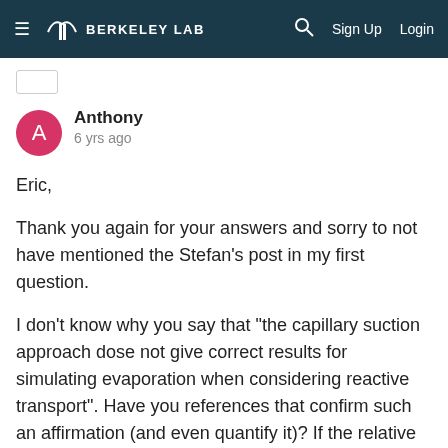BERKELEY LAB  Sign Up  Login
Anthony
6 yrs ago
Eric,

Thank you again for your answers and sorry to not have mentioned the Stefan's post in my first question.

I don't know why you say that "the capillary suction approach dose not give correct results for simulating evaporation when considering reactive transport". Have you references that confirm such an affirmation (and even quantify it)? If the relative humidity